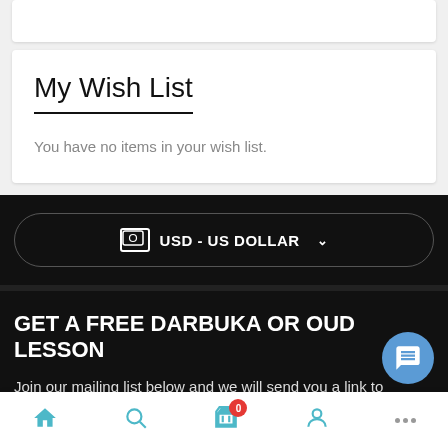My Wish List
You have no items in your wish list.
USD - US DOLLAR
GET A FREE DARBUKA OR OUD LESSON
Join our mailing list below and we will send you a link to download our darbuka or oud lesson.
Home | Search | Cart (0) | Account | More